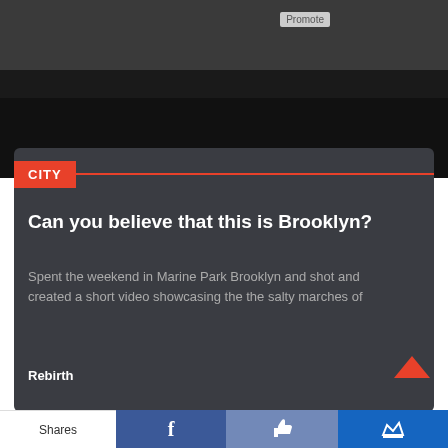[Figure (photo): Dark photo/image at top of page with a Promote button overlay]
CITY
Can you believe that this is Brooklyn?
Spent the weekend in Marine Park Brooklyn and shot and created a short video showcasing the the salty marches of
Rebirth
Shares